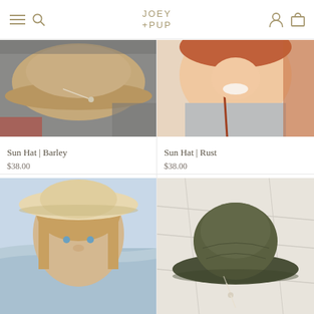JOEY +PUP
[Figure (photo): Close-up of a tan/barley colored sun hat with string tie, lying on a dark surface]
[Figure (photo): Smiling young girl wearing a rust-colored sun hat strap, dressed in a gray shirt]
Sun Hat | Barley
$38.00
Sun Hat | Rust
$38.00
[Figure (photo): Child wearing a wide-brim natural/cream sun hat at the beach]
[Figure (photo): Olive/dark green sun hat with tie string on white fabric background]